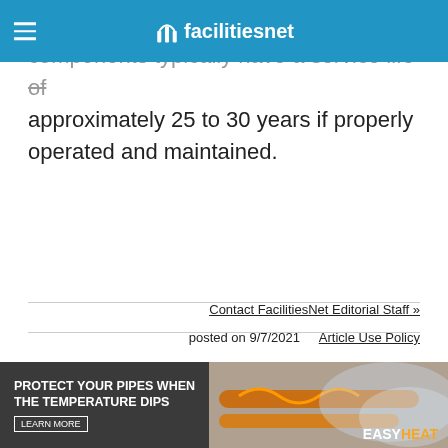facilitiesnet
and degraded. Most HVAC systems and components typically have a service life of approximately 25 to 30 years if properly operated and maintained.
Contact FacilitiesNet Editorial Staff »
posted on 9/7/2021   Article Use Policy
[Figure (illustration): Advertisement banner: PROTECT YOUR PIPES WHEN THE TEMPERATURE DIPS — EasyHeat brand ad with orange pipe/heating cable image]